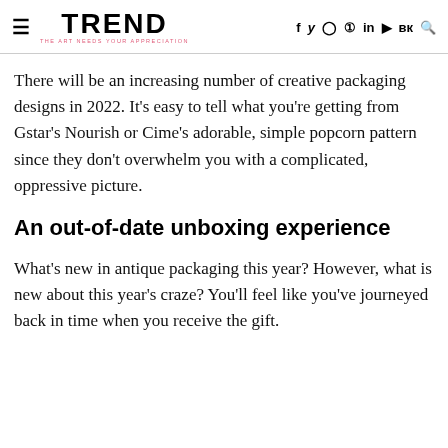TREND — THE DOTTREND | social icons: f y instagram pinterest in youtube vk search
There will be an increasing number of creative packaging designs in 2022. It's easy to tell what you're getting from Gstar's Nourish or Cime's adorable, simple popcorn pattern since they don't overwhelm you with a complicated, oppressive picture.
An out-of-date unboxing experience
What's new in antique packaging this year? However, what is new about this year's craze? You'll feel like you've journeyed back in time when you receive the gift.